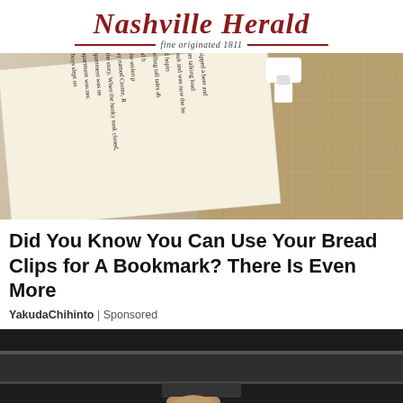Nashville Herald — fine originated 1811
[Figure (photo): Open book with text visible, with a white plastic bread clip used as a bookmark on top of the page, with woven fabric/burlap background]
Did You Know You Can Use Your Bread Clips for A Bookmark? There Is Even More
YakudaChihinto | Sponsored
[Figure (photo): Close-up of a person's hand holding or operating a dark metallic appliance or device]